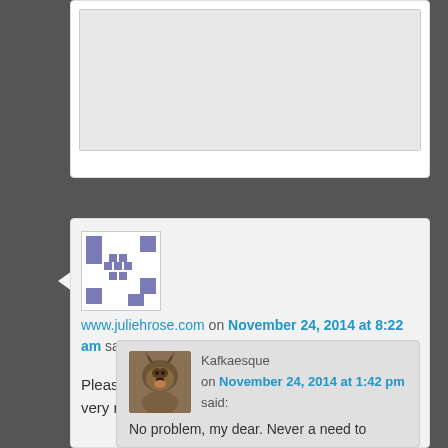[Figure (screenshot): Partial top comment card with a gray inner box, cut off at top]
[Figure (illustration): Identicon avatar image with purple/blue geometric pattern on white background]
www.juliehrose.com on November 24, 2014 at 8:22 am said:
Please excuse the sloppy comment. I'm having a very rough morning!!
[Figure (photo): Photo of a German Shepherd dog]
Kafkaesque on November 24, 2014 at 1:42 pm said:
No problem, my dear. Never a need to